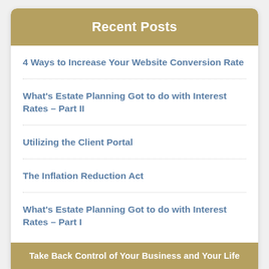Recent Posts
4 Ways to Increase Your Website Conversion Rate
What's Estate Planning Got to do with Interest Rates – Part II
Utilizing the Client Portal
The Inflation Reduction Act
What's Estate Planning Got to do with Interest Rates – Part I
Take Back Control of Your Business and Your Life